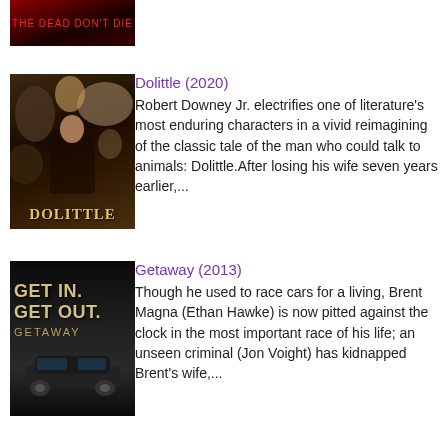[Figure (photo): Partial movie poster for 'The Dead Don't Die' showing red text on dark background]
[Figure (photo): Movie poster for Dolittle (2020) showing Robert Downey Jr. surrounded by animals]
Dolittle (2020)
Robert Downey Jr. electrifies one of literature's most enduring characters in a vivid reimagining of the classic tale of the man who could talk to animals: Dolittle.After losing his wife seven years earlier,...
[Figure (photo): Movie poster for Getaway (2013) showing GET IN GET OUT text and a car]
Getaway (2013)
Though he used to race cars for a living, Brent Magna (Ethan Hawke) is now pitted against the clock in the most important race of his life; an unseen criminal (Jon Voight) has kidnapped Brent's wife,...